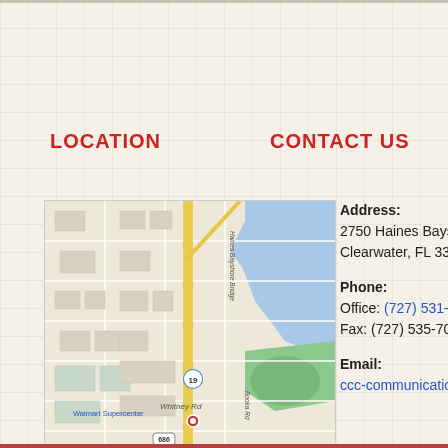LOCATION
CONTACT US
[Figure (map): Google Maps showing the area around 2750 Haines Bayshore Road, Clearwater, FL, with Walmart Supercenter and Whitney Rd visible, Route 19 and Route 686 marked.]
Address:
2750 Haines Bayshore Road
Clearwater, FL 33760
Phone:
Office: (727) 531-1449
Fax: (727) 535-7034
Email:
ccc-communications@ccchs.org